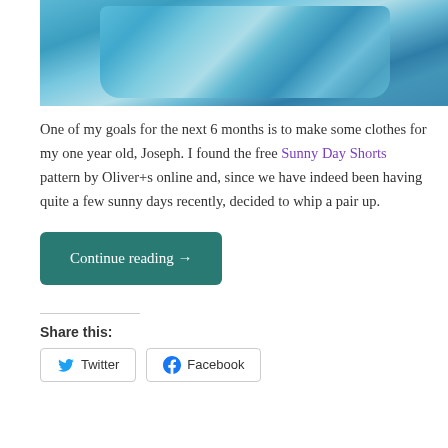[Figure (photo): Photo of colorful tropical-print children's shorts (blue, teal, white pattern) laid flat on a white surface, with a dark background on the left edge.]
One of my goals for the next 6 months is to make some clothes for my one year old, Joseph. I found the free Sunny Day Shorts pattern by Oliver+s online and, since we have indeed been having quite a few sunny days recently, decided to whip a pair up.
Continue reading →
Share this:
Twitter
Facebook